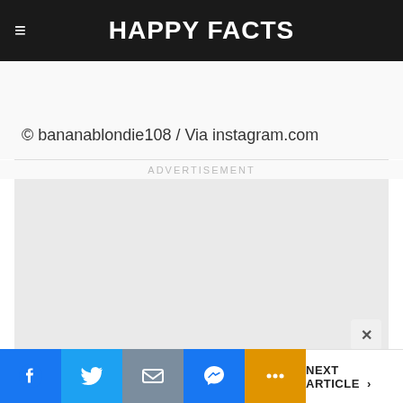HAPPY FACTS
© bananablondie108 / Via instagram.com
ADVERTISEMENT
[Figure (other): Advertisement placeholder box (grey rectangle)]
Facebook | Twitter | Email | Messenger | More | NEXT ARTICLE >